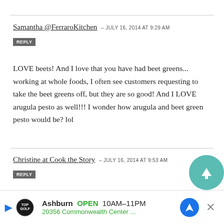Samantha @FerraroKitchen – JULY 16, 2014 at 9:29 AM
REPLY
LOVE beets! And I love that you have had beet greens... working at whole foods, I often see customers requesting to take the beet greens off, but they are so good! And I LOVE arugula pesto as well!!! I wonder how arugula and beet green pesto would be? lol
Christine at Cook the Story – JULY 16, 2014 at 9:53 AM
REPLY
This dish is just stunning, and I love all of the flavors y...
[Figure (infographic): Advertisement banner: Topgolf Ashburn OPEN 10AM-11PM, 20356 Commonwealth Center...]